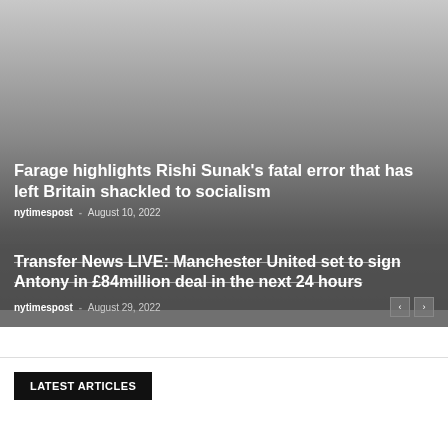[Figure (photo): Hero image area with gradient from light gray at top to dark gray at bottom, serving as background for article headlines]
Farage highlights Rishi Sunak's fatal error that has left Britain shackled to socialism
nytimespost - August 10, 2022
Transfer News LIVE: Manchester United set to sign Antony in £84million deal in the next 24 hours
nytimespost - August 29, 2022
LATEST ARTICLES